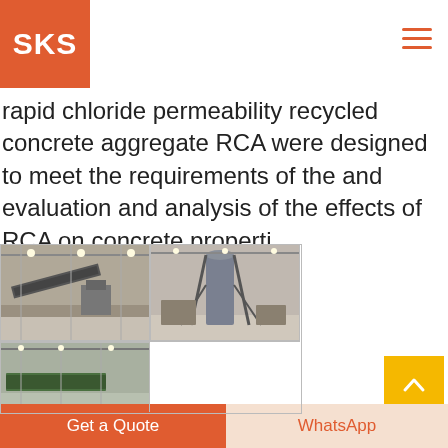SKS
rapid chloride permeability recycled concrete aggregate RCA were designed to meet the requirements of the and evaluation and analysis of the effects of RCA on concrete properti
[Figure (photo): Industrial recycling facility with conveyor belts and processing equipment - image 1]
[Figure (photo): Industrial recycling facility with large vertical processing tower - image 2]
[Figure (photo): Industrial facility interior with conveyor system - image 3]